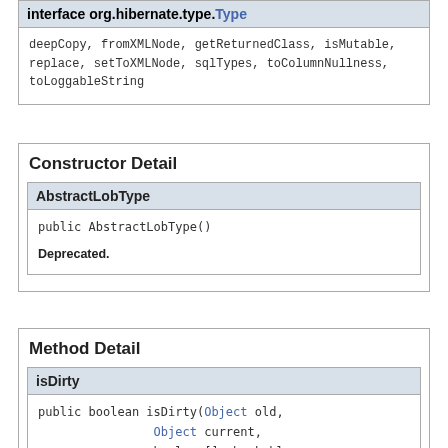interface org.hibernate.type.Type
deepCopy, fromXMLNode, getReturnedClass, isMutable, replace, setToXMLNode, sqlTypes, toColumnNullness, toLoggableString
Constructor Detail
AbstractLobType
public AbstractLobType()
Deprecated.
Method Detail
isDirty
public boolean isDirty(Object old,
                Object current,
                boolean[] checkable